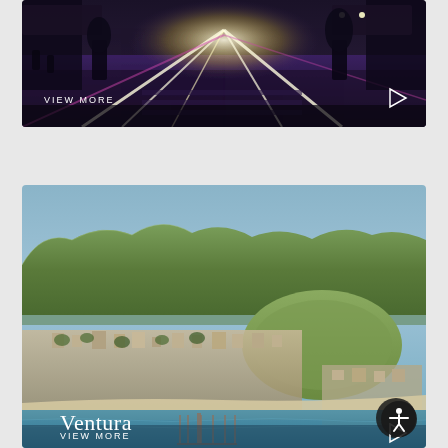[Figure (photo): Aerial/street view night photo of an intersection with light trails from traffic, dark purple and blue tones, city street scene with palm trees and cars]
VIEW MORE
[Figure (photo): Aerial daytime photo of Ventura, California coastal city with mountains in background, pier visible, teal ocean water, city buildings and hills]
Ventura
VIEW MORE